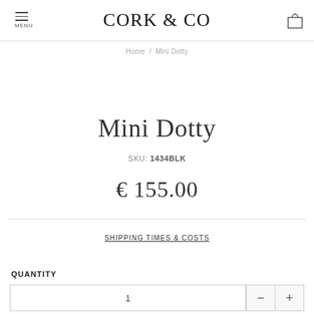CORK & CO
Home / Mini Dotty
Mini Dotty
SKU: 1434BLK
€ 155.00
SHIPPING TIMES & COSTS
QUANTITY
1